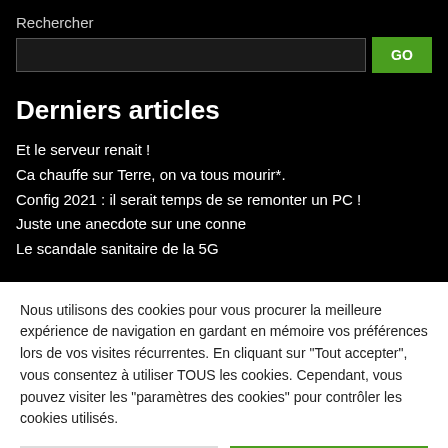Rechercher
GO
Derniers articles
Et le serveur renait !
Ca chauffe sur Terre, on va tous mourir*.
Config 2021 : il serait temps de se remonter un PC !
Juste une anecdote sur une conne
Le scandale sanitaire de la 5G
Nous utilisons des cookies pour vous procurer la meilleure expérience de navigation en gardant en mémoire vos préférences lors de vos visites récurrentes. En cliquant sur "Tout accepter", vous consentez à utiliser TOUS les cookies. Cependant, vous pouvez visiter les "paramètres des cookies" pour contrôler les cookies utilisés.
Paramètres des cookies
Tout accepter